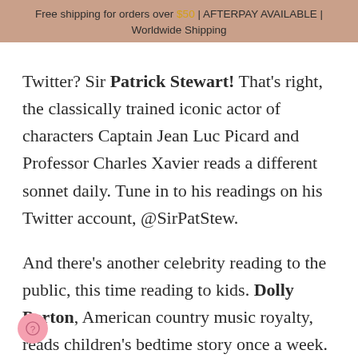Free shipping for orders over $50 | AFTERPAY AVAILABLE | Worldwide Shipping
Twitter? Sir Patrick Stewart! That's right, the classically trained iconic actor of characters Captain Jean Luc Picard and Professor Charles Xavier reads a different sonnet daily. Tune in to his readings on his Twitter account, @SirPatStew.

And there's another celebrity reading to the public, this time reading to kids. Dolly Parton, American country music royalty, reads children's bedtime story once a week. Watch and listen to her story-of-the week, and catch up on previous stories at https://www.youtube.com/user/imaginationlibrary.